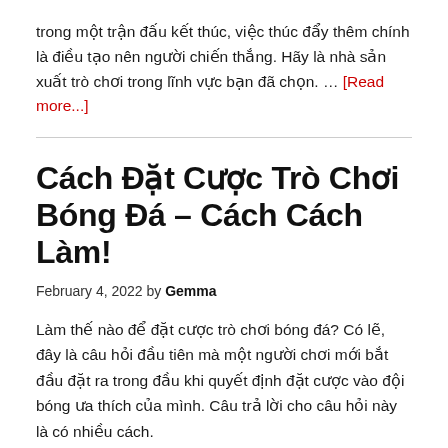trong một trận đấu kết thúc, việc thúc đẩy thêm chính là điều tạo nên người chiến thắng. Hãy là nhà sản xuất trò chơi trong lĩnh vực bạn đã chọn. … [Read more...]
Cách Đặt Cược Trò Chơi Bóng Đá – Cách Cách Làm!
February 4, 2022 by Gemma
Làm thế nào để đặt cược trò chơi bóng đá? Có lẽ, đây là câu hỏi đầu tiên mà một người chơi mới bắt đầu đặt ra trong đầu khi quyết định đặt cược vào đội bóng ưa thích của mình. Câu trả lời cho câu hỏi này là có nhiều cách.